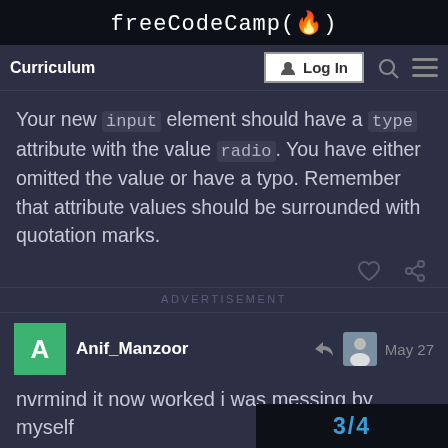freeCodeCamp(🔥)
Curriculum  Log In
Your new input element should have a type attribute with the value radio. You have either omitted the value or have a typo. Remember that attribute values should be surrounded with quotation marks.
ADVERTISEMENT
Anif_Manzoor  May 27
nvrmind it now worked i was messing by myself
3/4